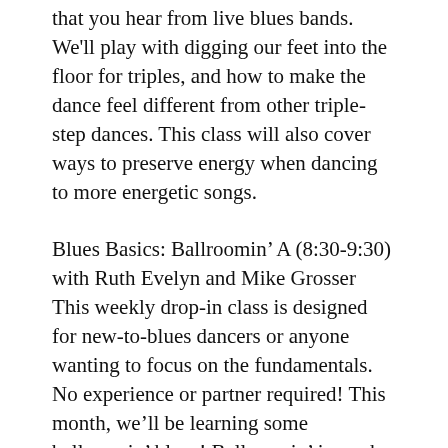that you hear from live blues bands. We'll play with digging our feet into the floor for triples, and how to make the dance feel different from other triple-step dances. This class will also cover ways to preserve energy when dancing to more energetic songs.
Blues Basics: Ballroomin' A (8:30-9:30) with Ruth Evelyn and Mike Grosser This weekly drop-in class is designed for new-to-blues dancers or anyone wanting to focus on the fundamentals. No experience or partner required! This month, we'll be learning some ballroomin' blues! Ballroomin' is a sub-style of blues dances that were danced in ballrooms across America. Danced to jazz-blues, these dances have more partnered moves and often